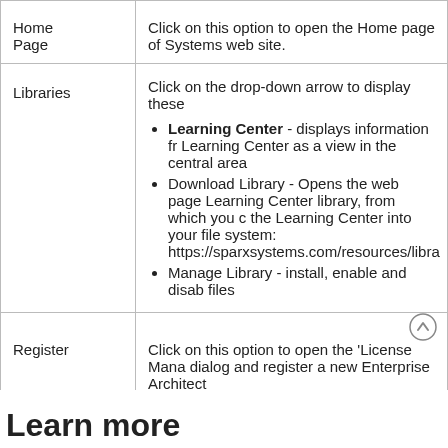| Option | Description |
| --- | --- |
| Home Page | Click on this option to open the Home page of Systems web site. |
| Libraries | Click on the drop-down arrow to display these options:
• Learning Center - displays information from Learning Center as a view in the central area
• Download Library - Opens the web page Learning Center library, from which you can download the Learning Center into your file system: https://sparxsystems.com/resources/libra
• Manage Library - install, enable and disable files |
| Register | Click on this option to open the 'License Manager' dialog and register a new Enterprise Architect |
Learn more